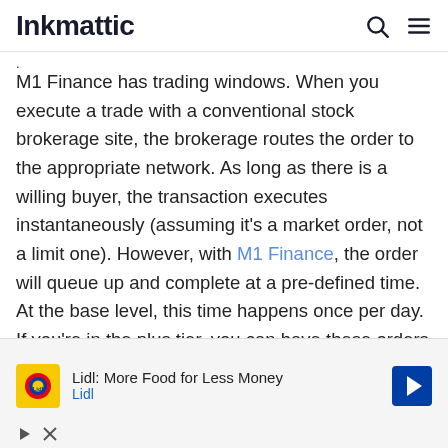Inkmattic
M1 Finance has trading windows. When you execute a trade with a conventional stock brokerage site, the brokerage routes the order to the appropriate network. As long as there is a willing buyer, the transaction executes instantaneously (assuming it's a market order, not a limit one). However, with M1 Finance, the order will queue up and complete at a pre-defined time. At the base level, this time happens once per day. If you're in the plus tier, you can have these orders
[Figure (other): Lidl advertisement banner showing Lidl logo, text 'Lidl: More Food for Less Money', Lidl brand name, navigation arrow icon, and ad control icons (play/close)]